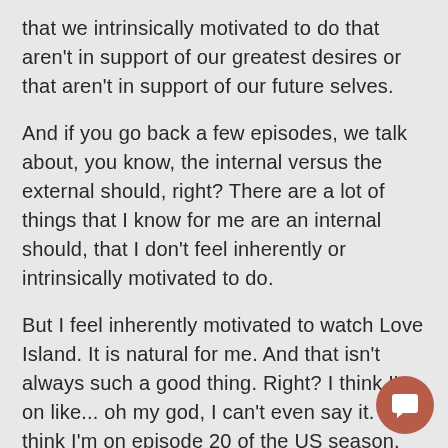that we intrinsically motivated to do that aren't in support of our greatest desires or that aren't in support of our future selves.
And if you go back a few episodes, we talk about, you know, the internal versus the external should, right? There are a lot of things that I know for me are an internal should, that I don't feel inherently or intrinsically motivated to do.
But I feel inherently motivated to watch Love Island. It is natural for me. And that isn't always such a good thing. Right? I think I'm on like... oh my god, I can't even say it. I think I'm on episode 20 of the US season, which is, I think each episode is, I don't know if it's 40 minutes or an hour, but like that's almost over the last month or so that I've spent watching Love Island.
[Figure (logo): Amazon chat/assistant button - circular brown/terra cotta colored button with white speech bubble icon]